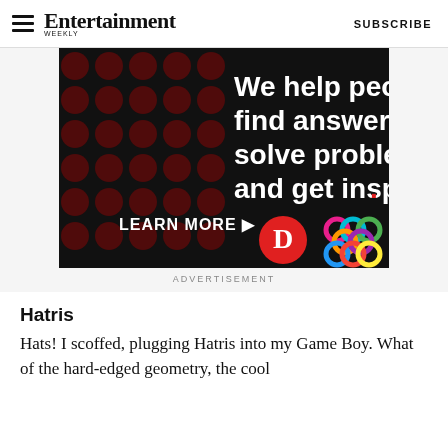Entertainment Weekly  SUBSCRIBE
[Figure (illustration): Advertisement banner with black background, dark red polka dot pattern, white bold text reading 'We help people find answers, solve problems and get inspired.' with a red period, 'LEARN MORE' button with arrow, a red circle with 'D' logo, and a colorful interlocking rings logo.]
ADVERTISEMENT
Hatris
Hats! I scoffed, plugging Hatris into my Game Boy. What of the hard-edged geometry, the cool